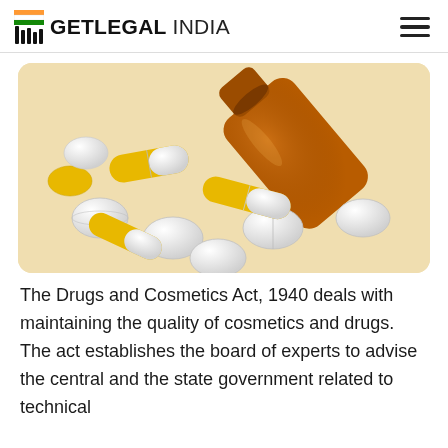GETLEGAL INDIA
[Figure (photo): Photo of yellow and white pills and capsules spilling out of a brown amber glass medicine bottle on a light beige background.]
The Drugs and Cosmetics Act, 1940 deals with maintaining the quality of cosmetics and drugs. The act establishes the board of experts to advise the central and the state government related to technical